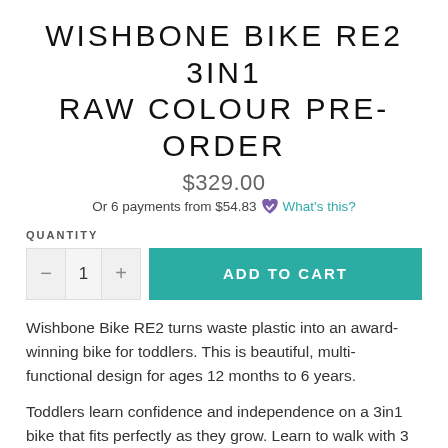WISHBONE BIKE RE2 3IN1 RAW COLOUR PRE-ORDER
$329.00
Or 6 payments from $54.83 ♥ What's this?
QUANTITY
ADD TO CART
Wishbone Bike RE2 turns waste plastic into an award-winning bike for toddlers. This is beautiful, multi-functional design for ages 12 months to 6 years.
Toddlers learn confidence and independence on a 3in1 bike that fits perfectly as they grow. Learn to walk with 3